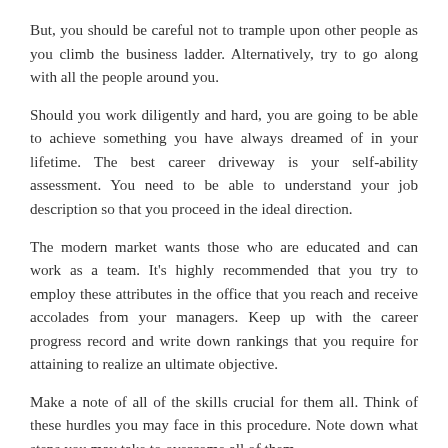But, you should be careful not to trample upon other people as you climb the business ladder. Alternatively, try to go along with all the people around you.
Should you work diligently and hard, you are going to be able to achieve something you have always dreamed of in your lifetime. The best career driveway is your self-ability assessment. You need to be able to understand your job description so that you proceed in the ideal direction.
The modern market wants those who are educated and can work as a team. It's highly recommended that you try to employ these attributes in the office that you reach and receive accolades from your managers. Keep up with the career progress record and write down rankings that you require for attaining to realize an ultimate objective.
Make a note of all of the skills crucial for them all. Think of these hurdles you may face in this procedure. Note down what steps you may take to overcome all of them.
Posted in Education